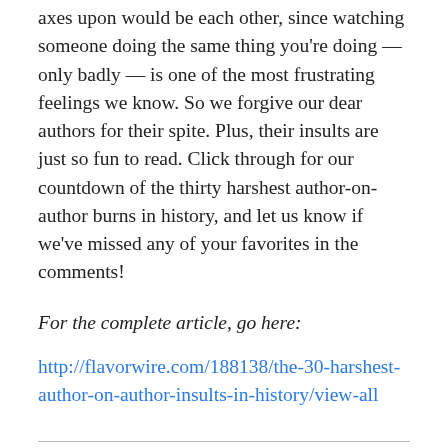axes upon would be each other, since watching someone doing the same thing you're doing — only badly — is one of the most frustrating feelings we know. So we forgive our dear authors for their spite. Plus, their insults are just so fun to read. Click through for our countdown of the thirty harshest author-on-author burns in history, and let us know if we've missed any of your favorites in the comments!
For the complete article, go here:
http://flavorwire.com/188138/the-30-harshest-author-on-author-insults-in-history/view-all
Tell others about this:
Reddit  Print  Twitter  Facebook  Email